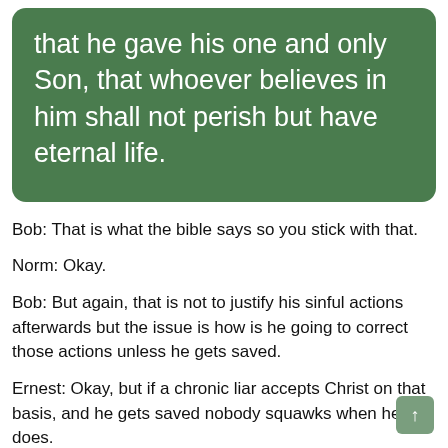that he gave his one and only Son, that whoever believes in him shall not perish but have eternal life.
Bob: That is what the bible says so you stick with that.
Norm: Okay.
Bob: But again, that is not to justify his sinful actions afterwards but the issue is how is he going to correct those actions unless he gets saved.
Ernest: Okay, but if a chronic liar accepts Christ on that basis, and he gets saved nobody squawks when he does.
Bob: It is self righteousness and it is sickening.